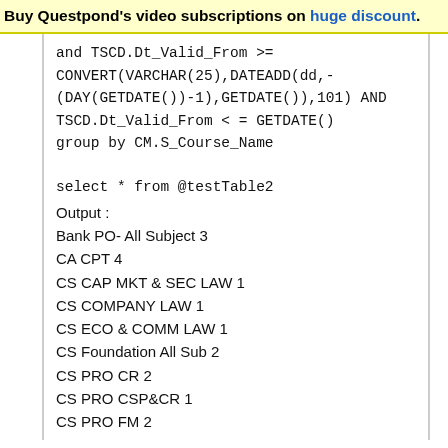Buy Questpond's video subscriptions on huge discount.
and TSCD.Dt_Valid_From >= CONVERT(VARCHAR(25),DATEADD(dd,-(DAY(GETDATE())-1),GETDATE()),101) AND TSCD.Dt_Valid_From < = GETDATE()
group by CM.S_Course_Name
select * from @testTable2
Output :
Bank PO- All Subject 3
CA CPT 4
CS CAP MKT & SEC LAW 1
CS COMPANY LAW 1
CS ECO & COMM LAW 1
CS Foundation All Sub 2
CS PRO CR 2
CS PRO CSP&CR 1
CS PRO FM 2
CS PRO TAX 2
CSP GS-All & CSAT 14
CSP Main GS 4
CSP Main Pub Admin 2
CSP Pre Both Papers 14